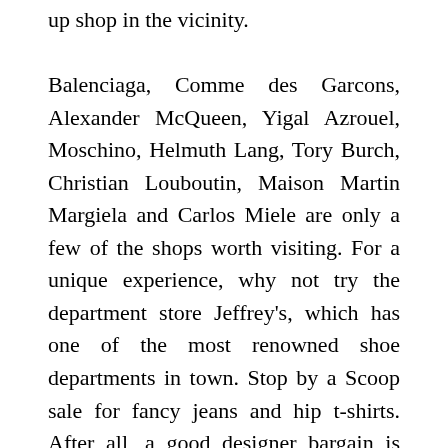up shop in the vicinity. Balenciaga, Comme des Garcons, Alexander McQueen, Yigal Azrouel, Moschino, Helmuth Lang, Tory Burch, Christian Louboutin, Maison Martin Margiela and Carlos Miele are only a few of the shops worth visiting. For a unique experience, why not try the department store Jeffrey's, which has one of the most renowned shoe departments in town. Stop by a Scoop sale for fancy jeans and hip t-shirts. After all, a good designer bargain is never a bad idea!
Since most of the shopping is done by foot, a stop to refuel the energies seems more than called for. Whether it's for a lunch, a mid-day